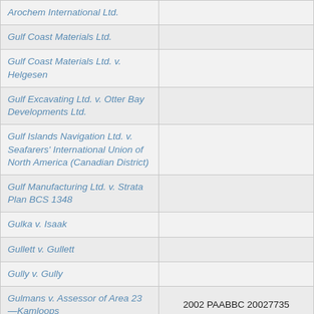| Arochem International Ltd. |  |
| Gulf Coast Materials Ltd. |  |
| Gulf Coast Materials Ltd. v. Helgesen |  |
| Gulf Excavating Ltd. v. Otter Bay Developments Ltd. |  |
| Gulf Islands Navigation Ltd. v. Seafarers' International Union of North America (Canadian District) |  |
| Gulf Manufacturing Ltd. v. Strata Plan BCS 1348 |  |
| Gulka v. Isaak |  |
| Gullett v. Gullett |  |
| Gully v. Gully |  |
| Gulmans v. Assessor of Area 23—Kamloops | 2002 PAABBC 20027735 |
| Gulston v. Aldred |  |
| Gumpp v. Co-operators Life Insurance Co. |  |
| [continued…] |  |